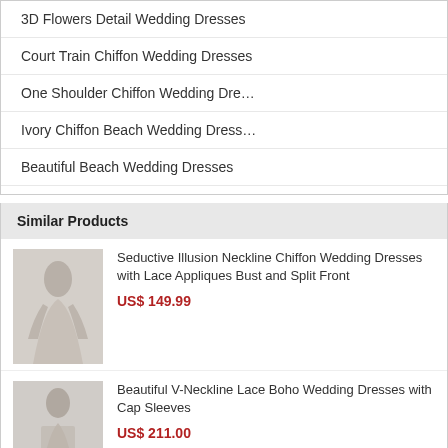3D Flowers Detail Wedding Dresses
Court Train Chiffon Wedding Dresses
One Shoulder Chiffon Wedding Dre…
Ivory Chiffon Beach Wedding Dress…
Beautiful Beach Wedding Dresses
Similar Products
Seductive Illusion Neckline Chiffon Wedding Dresses with Lace Appliques Bust and Split Front
US$ 149.99
Beautiful V-Neckline Lace Boho Wedding Dresses with Cap Sleeves
US$ 211.00
Affordable Smiple Sheath V-Neck Floor Length Chiffon Wedding Dresses
US$ 109.99
Ethereal Ruched Bodice One Shoulder Chiffon Wedding